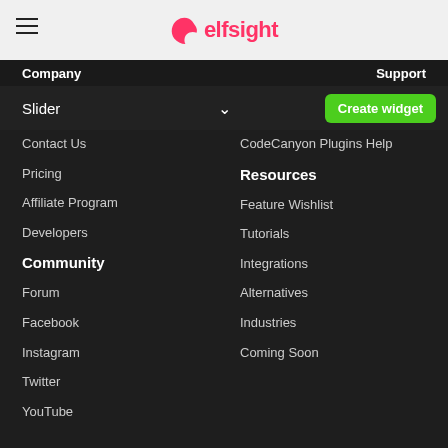elfsight
Company
Support
Slider
Contact Us
Pricing
Affiliate Program
Developers
Community
Forum
Facebook
Instagram
Twitter
YouTube
CodeCanyon Plugins Help
Resources
Feature Wishlist
Tutorials
Integrations
Alternatives
Industries
Coming Soon